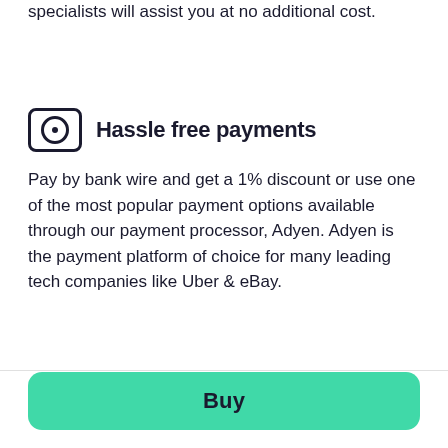specialists will assist you at no additional cost.
Hassle free payments
Pay by bank wire and get a 1% discount or use one of the most popular payment options available through our payment processor, Adyen. Adyen is the payment platform of choice for many leading tech companies like Uber & eBay.
$880 or $110 /month
Buy